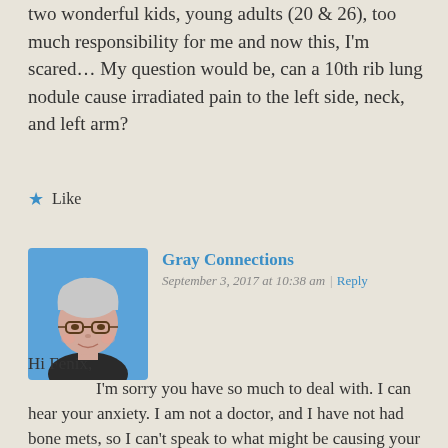two wonderful kids, young adults (20 & 26), too much responsibility for me and now this, I'm scared… My question would be, can a 10th rib lung nodule cause irradiated pain to the left side, neck, and left arm?
★ Like
Gray Connections
September 3, 2017 at 10:38 am | Reply
[Figure (illustration): Avatar illustration of a person with gray/white hair, glasses, wearing a dark top, with a blue background, cartoon-style portrait]
Hi Fenix,
I'm sorry you have so much to deal with. I can hear your anxiety. I am not a doctor, and I have not had bone mets, so I can't speak to what might be causing your pain. It would be unusual to have a bone met with no primary tumor visible in the lungs, but it has happened. I'm glad you have an